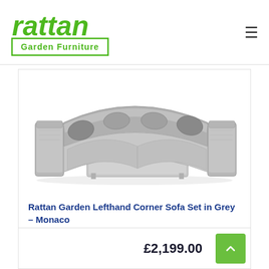[Figure (logo): Rattan Garden Furniture logo — green stylized text 'rattan' above a green-outlined box containing 'Garden Furniture']
[Figure (photo): Grey rattan semicircular corner sofa set with grey cushions and a rectangular coffee table, photographed on white background]
Rattan Garden Lefthand Corner Sofa Set in Grey – Monaco
£2,199.00